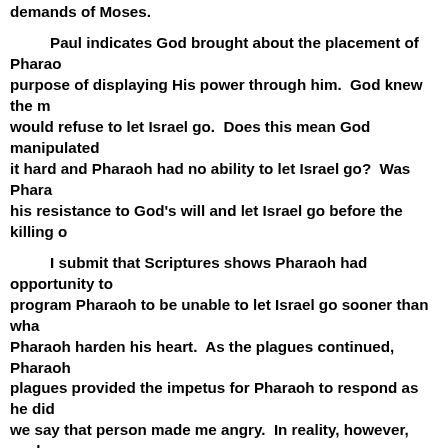demands of Moses.
Paul indicates God brought about the placement of Pharao purpose of displaying His power through him. God knew the m would refuse to let Israel go. Does this mean God manipulated it hard and Pharaoh had no ability to let Israel go? Was Phara his resistance to God's will and let Israel go before the killing o
I submit that Scriptures shows Pharaoh had opportunity t program Pharaoh to be unable to let Israel go sooner than wha Pharaoh harden his heart. As the plagues continued, Pharaoh plagues provided the impetus for Pharaoh to respond as he did we say that person made me angry. In reality, however, such p to become angry. It was our choice to become angry. It was th upon Egypt that hardened Pharaoh's heart. God knew the me various dynamics of an Egyptian society based on slave labor. and how he reacted was to harden his heart and not allow Israe
We see this made evident in 1 Samuel, chapter six. Here w Philistines for having taken possession of the Ark of the Lord a of this God was bringing judgement upon them and they are as hearts as did Pharaoh and the Egyptians.